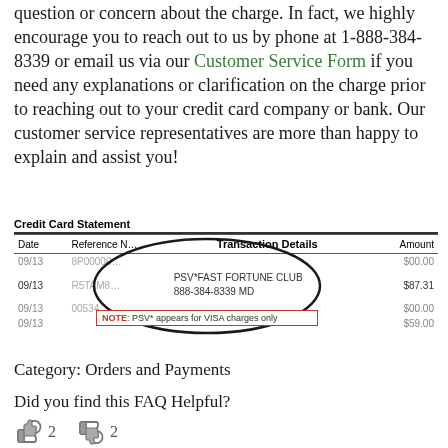question or concern about the charge. In fact, we highly encourage you to reach out to us by phone at 1-888-384-8339 or email us via our Customer Service Form if you need any explanations or clarification on the charge prior to reaching out to your credit card company or bank. Our customer service representatives are more than happy to explain and assist you!
[Figure (other): Credit card statement showing transaction details. An oval highlights the Transaction Details column with 'PSV*FAST FORTUNE CLUB 888-384-8339 MD'. A red-bordered note reads: NOTE: PSV* appears for VISA charges only.]
Category: Orders and Payments
Did you find this FAQ Helpful?
👍 2   👎 2